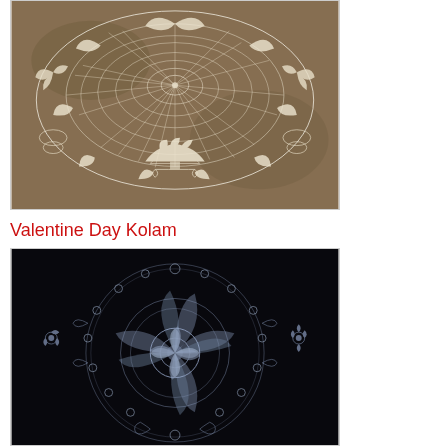[Figure (photo): A large decorative white kolam (rangoli) pattern drawn on a brown/gray ground surface, featuring a large circular geometric mandala with intricate net-like patterns in the center, radiating petals, and ornamental motifs including floral and leaf designs around the edges.]
Valentine Day Kolam
[Figure (photo): A Valentine Day kolam pattern drawn in light blue/white on a black background, featuring a large circular floral mandala with intricate lace-like patterns, flower motifs, leaf designs, and decorative borders.]